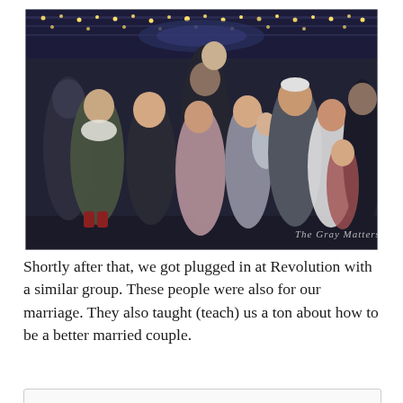[Figure (photo): A group of adults and children posing together outdoors at night near a carousel decorated with lights. A watermark reads 'The Gray Matters' in the lower right corner.]
Shortly after that, we got plugged in at Revolution with a similar group. These people were also for our marriage. They also taught (teach) us a ton about how to be a better married couple.